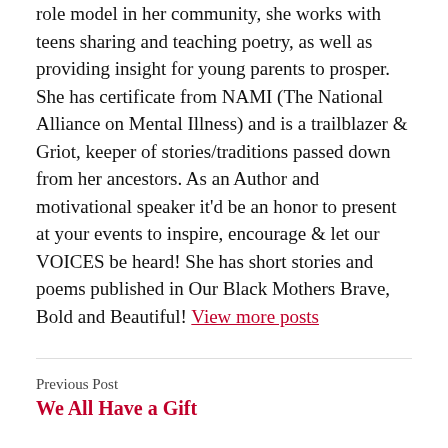role model in her community, she works with teens sharing and teaching poetry, as well as providing insight for young parents to prosper. She has certificate from NAMI (The National Alliance on Mental Illness) and is a trailblazer & Griot, keeper of stories/traditions passed down from her ancestors. As an Author and motivational speaker it'd be an honor to present at your events to inspire, encourage & let our VOICES be heard! She has short stories and poems published in Our Black Mothers Brave, Bold and Beautiful! View more posts
Previous Post
We All Have a Gift